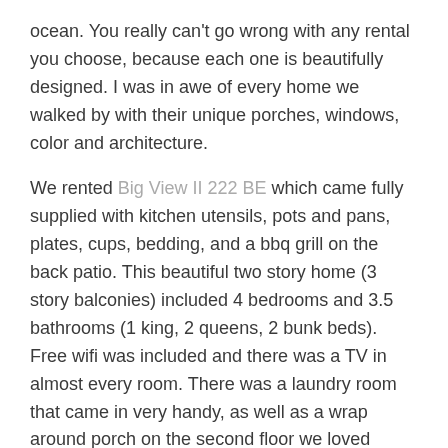ocean. You really can't go wrong with any rental you choose, because each one is beautifully designed. I was in awe of every home we walked by with their unique porches, windows, color and architecture.
We rented Big View II 222 BE which came fully supplied with kitchen utensils, pots and pans, plates, cups, bedding, and a bbq grill on the back patio. This beautiful two story home (3 story balconies) included 4 bedrooms and 3.5 bathrooms (1 king, 2 queens, 2 bunk beds). Free wifi was included and there was a TV in almost every room. There was a laundry room that came in very handy, as well as a wrap around porch on the second floor we loved hanging out on.
Even though you can walk to almost anywhere on the property, I recommend getting a golf cart (seats 9) especially for hauling stuff to the beach. You can rent one directly through the resort and ours was waiting at our rental when